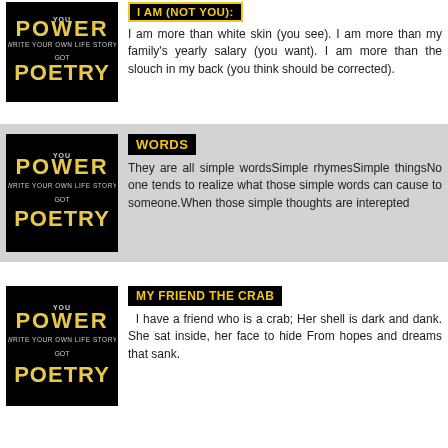[Figure (illustration): Power to Poetry book cover - black background with stylized text]
I AM (NOT YOU):
I am more than white skin (you see). I am more than my family's yearly salary (you want). I am more than the slouch in my back (you think should be corrected).
[Figure (illustration): Power to Poetry book cover - black background with stylized text]
WORDS
They are all simple wordsSimple rhymesSimple thingsNo one tends to realize what those simple words can cause to someone.When those simple thoughts are interepted
[Figure (illustration): Power to Poetry book cover - black background with stylized text]
MY FRIEND THE CRAB
I have a friend who is a crab; Her shell is dark and dank. She sat inside, her face to hide From hopes and dreams that sank.